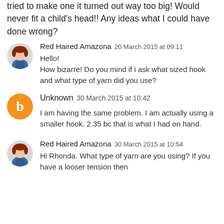tried to make one it turned out way too big! Would never fit a child's head!! Any ideas what I could have done wrong?
Red Haired Amazona  20 March 2015 at 09:11
Hello!
How bizarre! Do you mind if i ask what sized hook and what type of yarn did you use?
Unknown  30 March 2015 at 10:42
I am having the same problem. I am actually using a smaller hook. 2.35 bc that is what I had on hand.
Red Haired Amazona  30 March 2015 at 10:54
Hi Rhonda. What type of yarn are you using? If you have a looser tension then